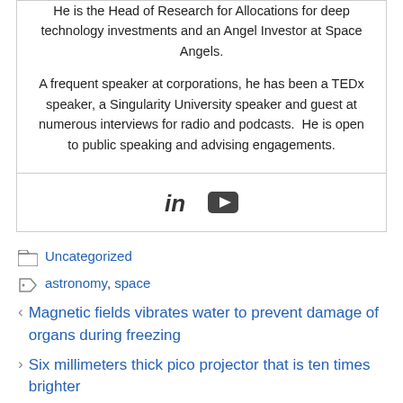He is the Head of Research for Allocations for deep technology investments and an Angel Investor at Space Angels.
A frequent speaker at corporations, he has been a TEDx speaker, a Singularity University speaker and guest at numerous interviews for radio and podcasts.  He is open to public speaking and advising engagements.
[Figure (other): LinkedIn and YouTube social media icons]
Uncategorized
astronomy, space
Magnetic fields vibrates water to prevent damage of organs during freezing
Six millimeters thick pico projector that is ten times brighter